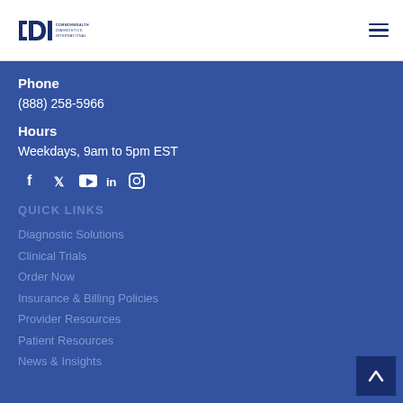[Figure (logo): Commonwealth Diagnostics International (CDI) logo — blue square-bracket letters 'CDI' with 'COMMONWEALTH DIAGNOSTICS INTERNATIONAL' text to the right]
Phone
(888) 258-5966
Hours
Weekdays, 9am to 5pm EST
[Figure (infographic): Social media icons: Facebook, Twitter, YouTube, LinkedIn, Instagram]
QUICK LINKS
Diagnostic Solutions
Clinical Trials
Order Now
Insurance & Billing Policies
Provider Resources
Patient Resources
News & Insights